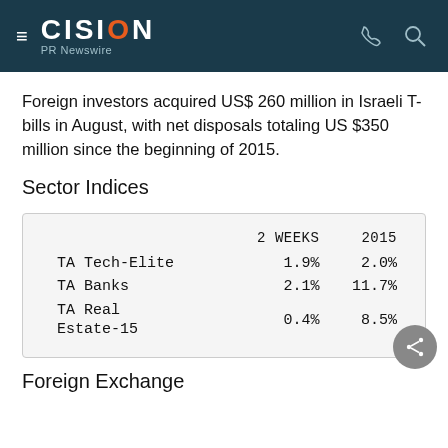CISION PR Newswire
Foreign investors acquired US$ 260 million in Israeli T-bills in August, with net disposals totaling US $350 million since the beginning of 2015.
Sector Indices
|  | 2 WEEKS | 2015 |
| --- | --- | --- |
| TA Tech-Elite | 1.9% | 2.0% |
| TA Banks | 2.1% | 11.7% |
| TA Real Estate-15 | 0.4% | 8.5% |
Foreign Exchange